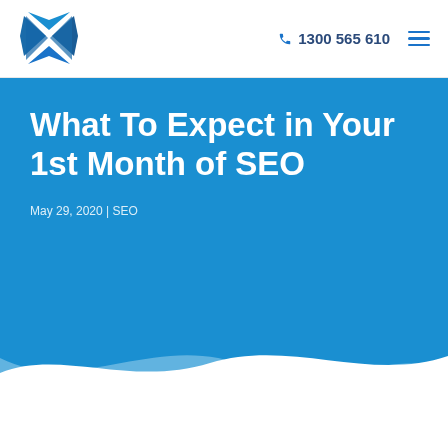1300 565 610
What To Expect in Your 1st Month of SEO
May 29, 2020 | SEO